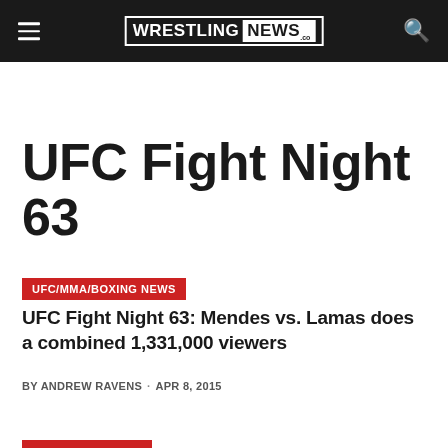WRESTLING NEWS .co
UFC Fight Night 63
UFC/MMA/BOXING NEWS
UFC Fight Night 63: Mendes vs. Lamas does a combined 1,331,000 viewers
BY ANDREW RAVENS · APR 8, 2015